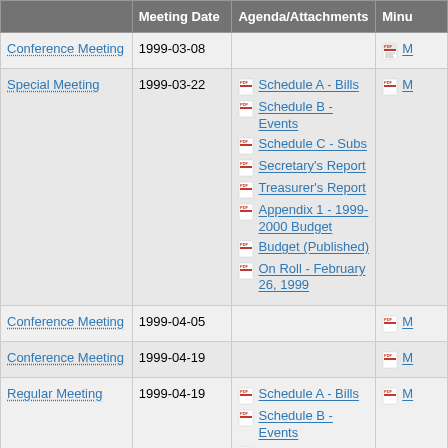|  | Meeting Date | Agenda/Attachments | Minu |
| --- | --- | --- | --- |
| Conference Meeting | 1999-03-08 |  | [PDF] M |
| Special Meeting | 1999-03-22 | Schedule A - Bills | Schedule B - Events | Schedule C - Subs | Secretary's Report | Treasurer's Report | Appendix 1 - 1999-2000 Budget | Budget (Published) | On Roll - February 26, 1999 | [PDF] M |
| Conference Meeting | 1999-04-05 |  | [PDF] M |
| Conference Meeting | 1999-04-19 |  | [PDF] M |
| Regular Meeting | 1999-04-19 | Schedule A - Bills | Schedule B - Events | Schedule C - Subs | Schedule D - Salary Guides | Schedule E - Salary Guides | Schedule F - Salary | [PDF] M |